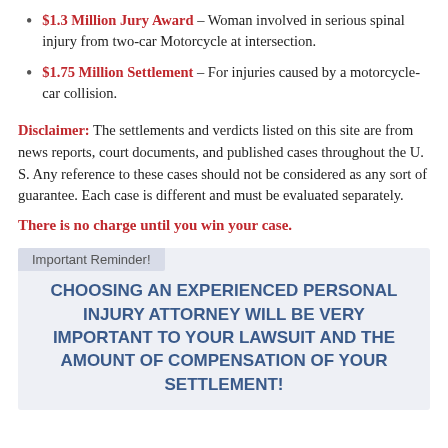$1.3 Million Jury Award – Woman involved in serious spinal injury from two-car Motorcycle at intersection.
$1.75 Million Settlement – For injuries caused by a motorcycle-car collision.
Disclaimer: The settlements and verdicts listed on this site are from news reports, court documents, and published cases throughout the U. S. Any reference to these cases should not be considered as any sort of guarantee. Each case is different and must be evaluated separately.
There is no charge until you win your case.
Important Reminder!
CHOOSING AN EXPERIENCED PERSONAL INJURY ATTORNEY WILL BE VERY IMPORTANT TO YOUR LAWSUIT AND THE AMOUNT OF COMPENSATION OF YOUR SETTLEMENT!